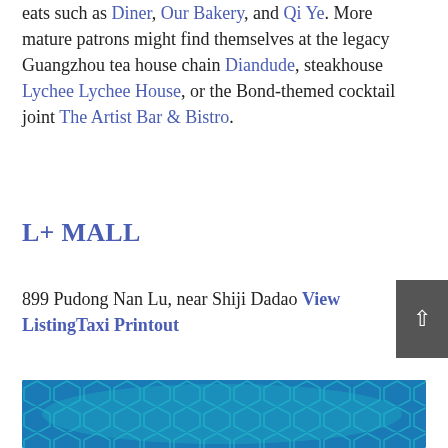eats such as Diner, Our Bakery, and Qi Ye. More mature patrons might find themselves at the legacy Guangzhou tea house chain Diandude, steakhouse Lychee Lychee House, or the Bond-themed cocktail joint The Artist Bar & Bistro.
L+ MALL
899 Pudong Nan Lu, near Shiji Dadao View ListingTaxi Printout
[Figure (photo): Teal/cyan colored decorative image, partial view at bottom of page]